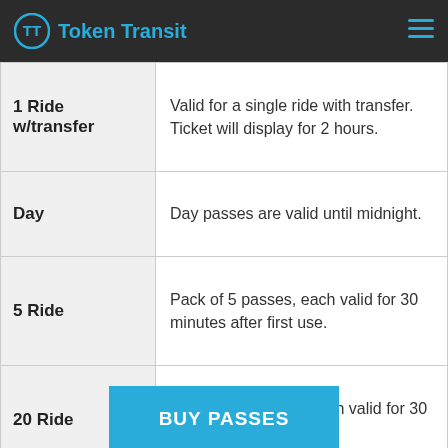Token Transit
| Pass Type | Description |
| --- | --- |
| 1 Ride w/transfer | Valid for a single ride with transfer. Ticket will display for 2 hours. |
| Day | Day passes are valid until midnight. |
| 5 Ride | Pack of 5 passes, each valid for 30 minutes after first use. |
| 20 Ride | Pack of 20 passes, each valid for 30 minutes after first use. |
| 31 Day | Valid for 31 consecutive days after first use and expires at midnight on the 31st day. |
BUY PASSES